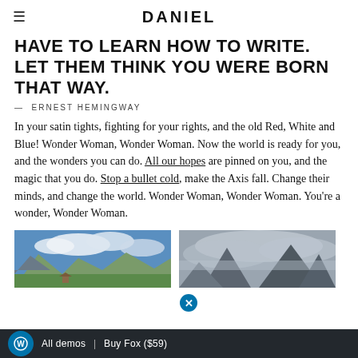DANIEL
HAVE TO LEARN HOW TO WRITE. LET THEM THINK YOU WERE BORN THAT WAY.
— ERNEST HEMINGWAY
In your satin tights, fighting for your rights, and the old Red, White and Blue! Wonder Woman, Wonder Woman. Now the world is ready for you, and the wonders you can do. All our hopes are pinned on you, and the magic that you do. Stop a bullet cold, make the Axis fall. Change their minds, and change the world. Wonder Woman, Wonder Woman. You're a wonder, Wonder Woman.
[Figure (photo): Mountain landscape with green meadows and dramatic clouds]
[Figure (photo): Misty mountain peaks with clouds around them]